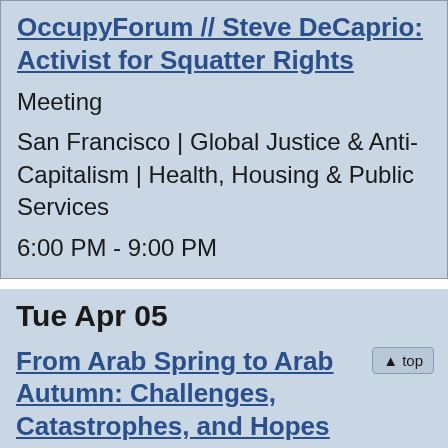OccupyForum // Steve DeCaprio: Activist for Squatter Rights
Meeting
San Francisco | Global Justice & Anti-Capitalism | Health, Housing & Public Services
6:00 PM - 9:00 PM
Tue Apr 05
From Arab Spring to Arab Autumn: Challenges, Catastrophes, and Hopes
Speaker